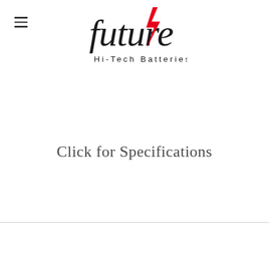future Hi-Tech Batteries
Click for Specifications